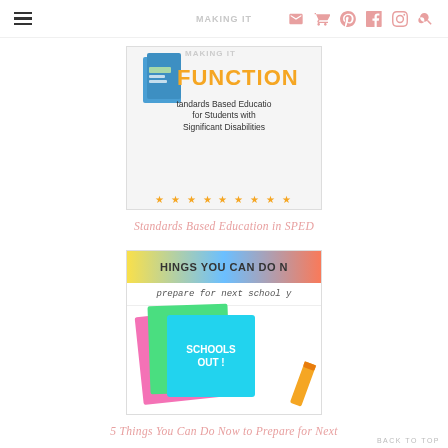Navigation header with hamburger menu, logo, and social/search icons
[Figure (illustration): Educational resource thumbnail: 'Making it Function' - Standards Based Education for Students with Significant Disabilities, with colorful stars border]
Standards Based Education in SPED
[Figure (illustration): Educational resource thumbnail: 'Things You Can Do Now to Prepare for Next School Year' with colorful notebooks and 'Schools Out!' teal folder graphic]
5 Things You Can Do Now to Prepare for Next
BACK TO TOP